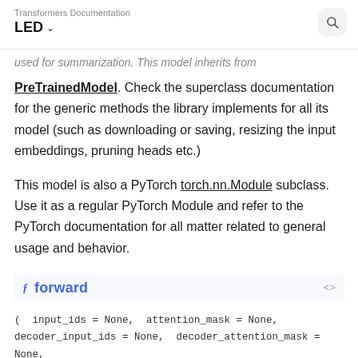Transformers Documentation
LED
…used for summarization. This model inherits from PreTrainedModel. Check the superclass documentation for the generic methods the library implements for all its model (such as downloading or saving, resizing the input embeddings, pruning heads etc.)
This model is also a PyTorch torch.nn.Module subclass. Use it as a regular PyTorch Module and refer to the PyTorch documentation for all matter related to general usage and behavior.
forward
( input_ids = None, attention_mask = None, decoder_input_ids = None, decoder_attention_mask = None, head_mask = None, decoder_head_mask = None,